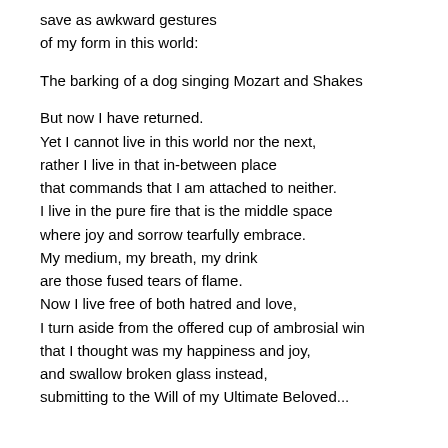save as awkward gestures
of my form in this world:

The barking of a dog singing Mozart and Shakes

But now I have returned.
Yet I cannot live in this world nor the next,
rather I live in that in-between place
that commands that I am attached to neither.
I live in the pure fire that is the middle space
where joy and sorrow tearfully embrace.
My medium, my breath, my drink
are those fused tears of flame.
Now I live free of both hatred and love,
I turn aside from the offered cup of ambrosial win
that I thought was my happiness and joy,
and swallow broken glass instead,
submitting to the Will of my Ultimate Beloved...